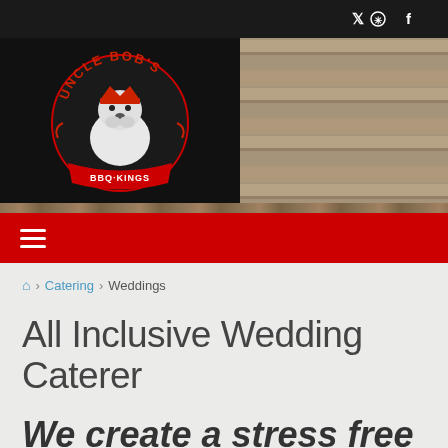Social icons: Twitter, Yelp, Facebook
[Figure (logo): Uncle Bob's BBQ logo — circular badge with bulldog wearing a crown, red text on black background]
Navigation bar with hamburger menu
Home > Catering > Weddings
All Inclusive Wedding Caterer
We create a stress free experience, with set up,